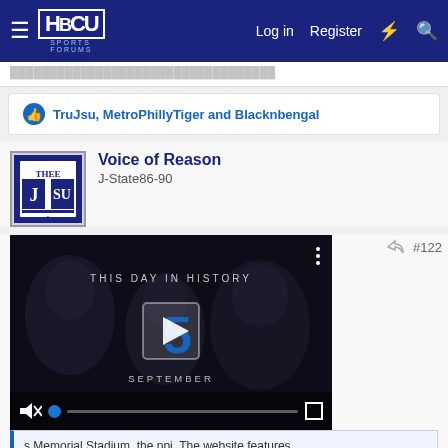HBCU Sports Forums — Log in | Register
TruJsu, MetroPhillyTiger and Blacknbengal
Voice of Reason
J-State86-90
[Figure (screenshot): Video player showing 'THIS DAY IN HISTORY' with a play button, September label, video controls (mute, progress bar, fullscreen), and three-dot menu]
s Memorial Stadium, the ppi. The website features
www.ms-veteransstadium.com
Reading is fundamental (RIP)
Blacknbengal